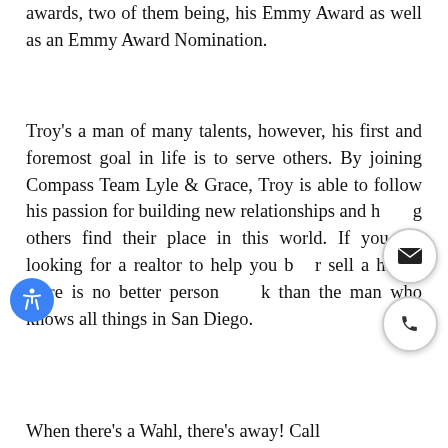awards, two of them being, his Emmy Award as well as an Emmy Award Nomination.
Troy's a man of many talents, however, his first and foremost goal in life is to serve others. By joining Compass Team Lyle & Grace, Troy is able to follow his passion for building new relationships and helping others find their place in this world. If you are looking for a realtor to help you buy or sell a home, there is no better person to look than the man who knows all things in San Diego.
When there's a Wahl, there's away! Call